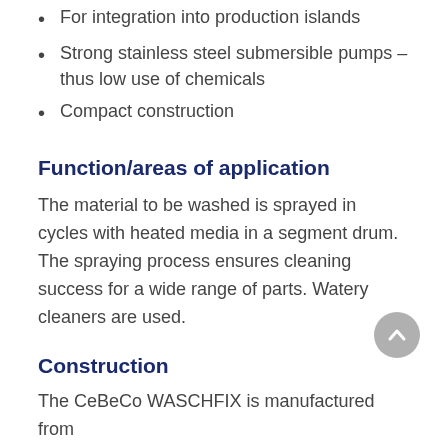For integration into production islands
Strong stainless steel submersible pumps – thus low use of chemicals
Compact construction
Function/areas of application
The material to be washed is sprayed in cycles with heated media in a segment drum. The spraying process ensures cleaning success for a wide range of parts. Watery cleaners are used.
Construction
The CeBeCo WASCHFIX is manufactured from